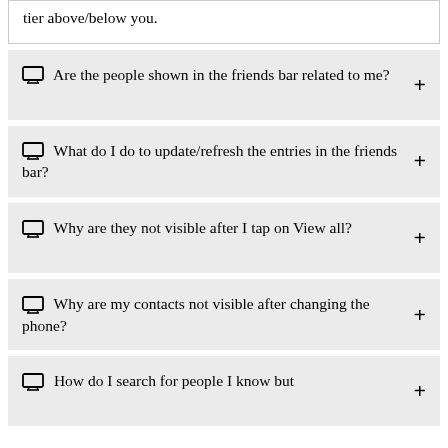tier above/below you.
Are the people shown in the friends bar related to me?
What do I do to update/refresh the entries in the friends bar?
Why are they not visible after I tap on View all?
Why are my contacts not visible after changing the phone?
How do I search for people I know but don't know their username?